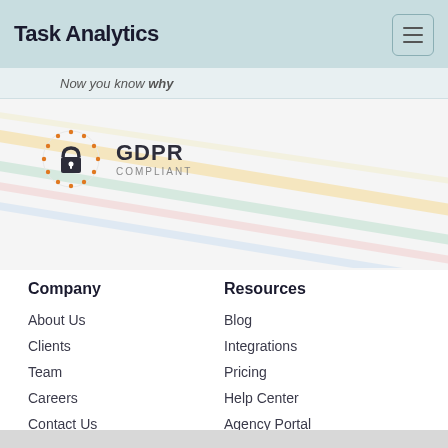Task Analytics
Now you know why
[Figure (logo): GDPR Compliant badge with orange star circle and lock icon, text reads GDPR COMPLIANT]
Company
About Us
Clients
Team
Careers
Contact Us
Newsletter
Resources
Blog
Integrations
Pricing
Help Center
Agency Portal
GDPR